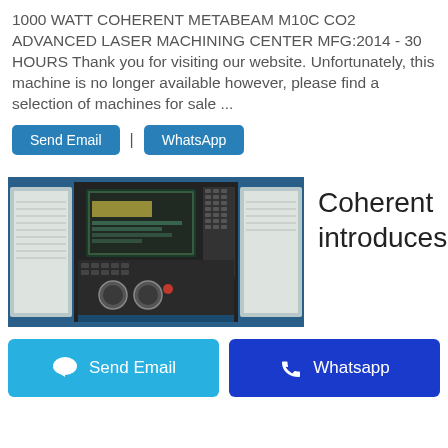1000 WATT COHERENT METABEAM M10C CO2 ADVANCED LASER MACHINING CENTER MFG:2014 - 30 HOURS Thank you for visiting our website. Unfortunately, this machine is no longer available however, please find a selection of machines for sale ...
Send Email | WhatsApp
[Figure (photo): Photo of a CNC laser machine control panel with a monitor screen and a button/keypad array, flanked by blue metal enclosures with papers clipped to them.]
Coherent introduces
Send Email
Whatsapp